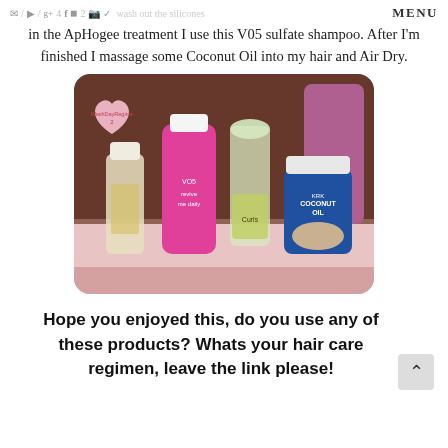MENU
wash out the silicones in the ApHogee treatment I use this V05 sulfate shampoo. After I'm finished I massage some Coconut Oil into my hair and Air Dry.
[Figure (photo): Four hair care products on a table: a small clear bottle with yellow liquid, a pink VO5 shampoo bottle, a clear bottle with green label, a jar of KRK Pure Coconut Oil. A pink heart-shaped sticky note reads 'WashDayRegime 2'.]
Hope you enjoyed this, do you use any of these products? Whats your hair care regimen, leave the link please!